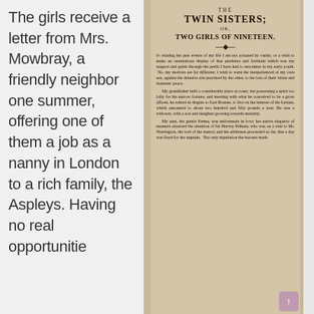The girls receive a letter from Mrs. Mowbray, a friendly neighbor one summer, offering one of them a job as a nanny in London to a rich family, the Aspleys. Having no real opportunitie
[Figure (photo): Photograph of an open book page showing title page and beginning text of 'The Twin Sisters; or, Two Girls of Nineteen', printed on aged brown paper.]
THE TWIN SISTERS; OR, TWO GIRLS OF NINETEEN.
In relating the past events of my life I am not actuated by vanity, or a wish to make an ostentatious display of that prudence and fortitude which was my support and guide through the perils I have had to encounter in my early youth. No, my motives are far different; I wish to warn the inexperienced of my own sex, against the delusive arts practised by the other, to the loss of their virtue and domestic peace. My grandfather held a considerable place at court; but possessing a spirit too lofty for his narrow fortune, and meeting with what he conceived to be a gross affront, he retired in disgust to East Bourne, to live on the interest of his fortune, which amounted to about two hundred and fifty pounds a year. He was a widower, with a son and daughter growing towards maturity. My aunt, the gentle Emma, was unfortunate in love; her native elegance of manners attracted the attention of Sir Harvey Pelham, who was on a visit to Mr. Warrington, the lord of the manor; and his addresses proceeded so far, that a day was fixed for the nuptials. The only stipulation the baronet made